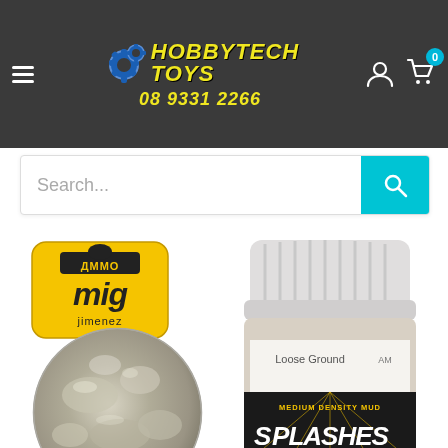[Figure (logo): HobbyTech Toys logo with gears and phone number 08 9331 2266 on dark grey header background]
[Figure (screenshot): Search bar with placeholder text 'Search...' and cyan search button with magnifying glass icon]
[Figure (photo): AMMO by Mig Jimenez brand logo (yellow/black bullet design), a circular sample of loose ground texture mud effect, and an AMMO paint jar labeled 'Loose Ground' Medium Density Mud Splashes product]